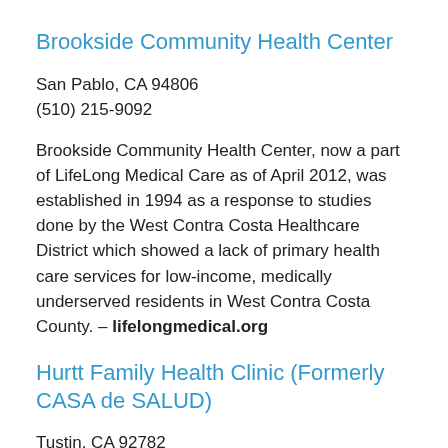Brookside Community Health Center
San Pablo, CA 94806
(510) 215-9092
Brookside Community Health Center, now a part of LifeLong Medical Care as of April 2012, was established in 1994 as a response to studies done by the West Contra Costa Healthcare District which showed a lack of primary health care services for low-income, medically underserved residents in West Contra Costa County. – lifelongmedical.org
Hurtt Family Health Clinic (Formerly CASA de SALUD)
Tustin, CA 92782